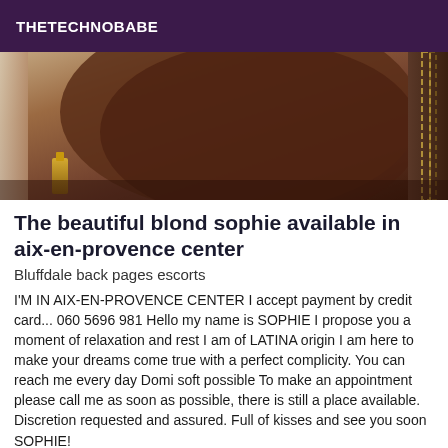THETECHNOBABE
[Figure (photo): A close-up photo showing what appears to be a person wearing a brown/dark top, with a gold perfume bottle visible in the lower left and chain accessories on the right side.]
The beautiful blond sophie available in aix-en-provence center
Bluffdale back pages escorts
I'M IN AIX-EN-PROVENCE CENTER I accept payment by credit card... 060 5696 981 Hello my name is SOPHIE I propose you a moment of relaxation and rest I am of LATINA origin I am here to make your dreams come true with a perfect complicity. You can reach me every day Domi soft possible To make an appointment please call me as soon as possible, there is still a place available. Discretion requested and assured. Full of kisses and see you soon SOPHIE!